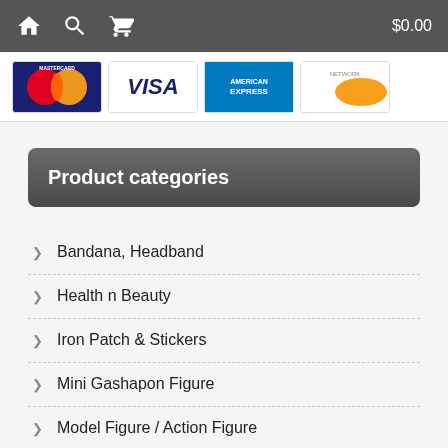$0.00
[Figure (screenshot): Payment card logos: Mastercard, Visa, American Express, Discover/other network]
Product categories
Bandana, Headband
Health n Beauty
Iron Patch & Stickers
Mini Gashapon Figure
Model Figure / Action Figure
Toys & Miniatures
Uncategorized
Wristband Bangle